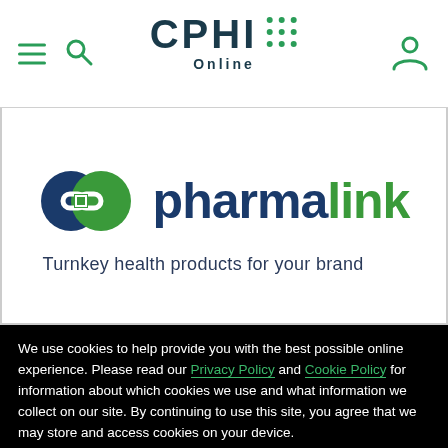CPHI Online
[Figure (logo): Pharmalink logo: two overlapping circles (dark navy blue and green) with a chain link icon, followed by the text 'pharmalink' in navy and green, tagline: Turnkey health products for your brand]
We use cookies to help provide you with the best possible online experience. Please read our Privacy Policy and Cookie Policy for information about which cookies we use and what information we collect on our site. By continuing to use this site, you agree that we may store and access cookies on your device.
I Agree